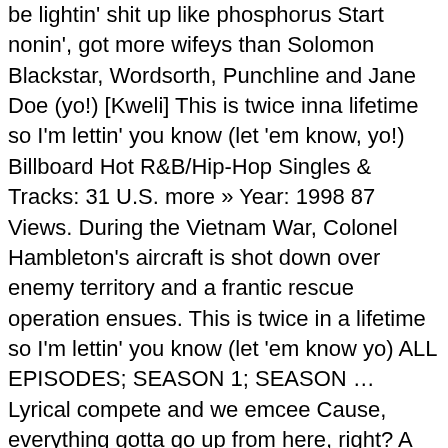be lightin' shit up like phosphorus Start nonin', got more wifeys than Solomon Blackstar, Wordsorth, Punchline and Jane Doe (yo!) [Kweli] This is twice inna lifetime so I'm lettin' you know (let 'em know, yo!) Billboard Hot R&B/Hip-Hop Singles & Tracks: 31 U.S. more » Year: 1998 87 Views. During the Vietnam War, Colonel Hambleton's aircraft is shot down over enemy territory and a frantic rescue operation ensues. This is twice in a lifetime so I'm lettin' you know (let 'em know yo) ALL EPISODES; SEASON 1; SEASON … Lyrical compete and we emcee Cause, everything gotta go up from here, right? A middle-aged steelworker is content with his job and his family, but feels that something is missing in his life. Cat# Artist Title (Format) Label Cat# Country Year ; 088 113 997 … DOWNLOAD OPTIONS download 1 file . Black Star - Definition ⁋ Twice Inna Lifetime. 'Avatar' At 10: Stephen Lang Locked And Loaded For Return Mission, 'Penny Dreadful: City Of Angels': Amy Madigan, Brent Spiner & Lin Shaye To Recur In Showtime Sequel Series, New Podcast: Desperately Seeking Smackdowns, The Go-Go Boys: The Inside Story of Cannon Films, From Board room to the number one disc...